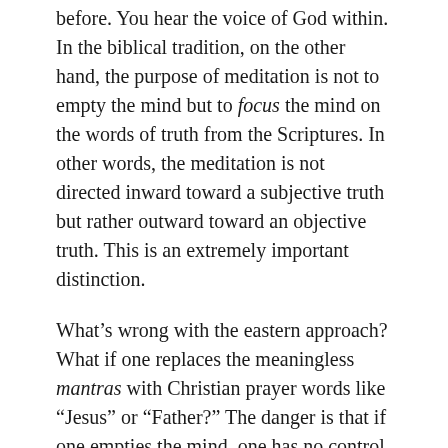before. You hear the voice of God within. In the biblical tradition, on the other hand, the purpose of meditation is not to empty the mind but to focus the mind on the words of truth from the Scriptures. In other words, the meditation is not directed inward toward a subjective truth but rather outward toward an objective truth. This is an extremely important distinction.
What's wrong with the eastern approach? What if one replaces the meaningless mantras with Christian prayer words like “Jesus” or “Father?” The danger is that if one empties the mind, one has no control over which spirit voice speaks to that emptied mind. Apart from the safeguard of Scripture, it is possible to be deceived into thinking that satanic influences are truly the voice of God. The spirit world contains both angels and demons, so eastern forms of meditation can connect one with either source. It seems to me that this fundamental point is crucial. But for what it’s